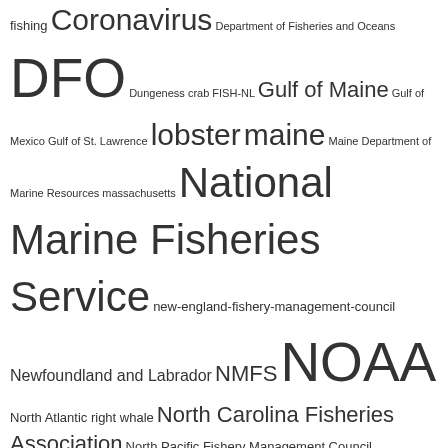fishing Coronavirus Department of Fisheries and Oceans DFO Dungeness crab FISH-NL Gulf of Maine Gulf of Mexico Gulf of St. Lawrence lobster maine Maine Department of Marine Resources massachusetts National Marine Fisheries Service new-england-fishery-management-council Newfoundland and Labrador NMFS NOAA North Atlantic right whale North Carolina Fisheries Association North Pacific Fishery Management Council Nova Scotia Obituary offshore wind offshore wind farm offshore wind farms Ryan Cleary U.S. Coast Guard United Kingdom weekly update
COMMENTS
Victoria Parr on Thousands of pounds worth of fishing nets stolen in Caister
Willy on Top Biden Climate Adviser Sanctioned by National Academy of Sciences for Ethical Violations
Victoria Parr on After the storm: Survivor recounts Pelican Bay storm 50 years later
Joel on Top Biden Climate Adviser Sanctioned by National Academy of Sciences for Ethical Violations
muddog on Top Biden Climate Adviser Sanctioned by National Academy of Sciences for Ethical Violations